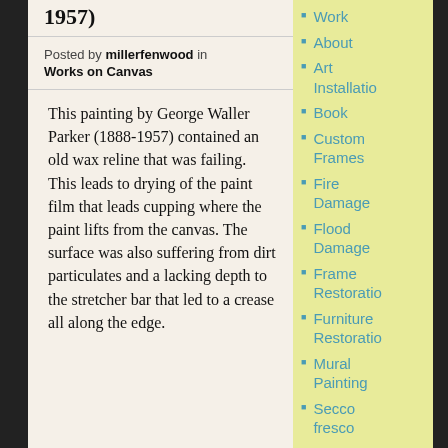1957)
Posted by millerfenwood in Works on Canvas
This painting by George Waller Parker (1888-1957) contained an old wax reline that was failing. This leads to drying of the paint film that leads cupping where the paint lifts from the canvas. The surface was also suffering from dirt particulates and a lacking depth to the stretcher bar that led to a crease all along the edge.
Work
About
Art Installation
Book
Custom Frames
Fire Damage
Flood Damage
Frame Restoration
Furniture Restoration
Mural Painting
Secco fresco
Tools
Uncatego
Work